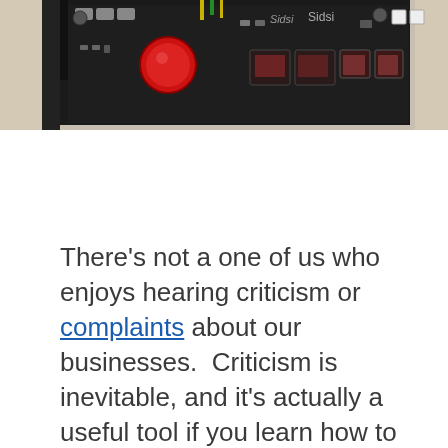[Figure (photo): Close-up photograph of an electronic circuit board with components including a red button, LED displays, wires, and various electronic components on a dark PCB board.]
There’s not a one of us who enjoys hearing criticism or complaints about our businesses.  Criticism is inevitable, and it’s actually a useful tool if you learn how to handle it effectively.  Healthy companies